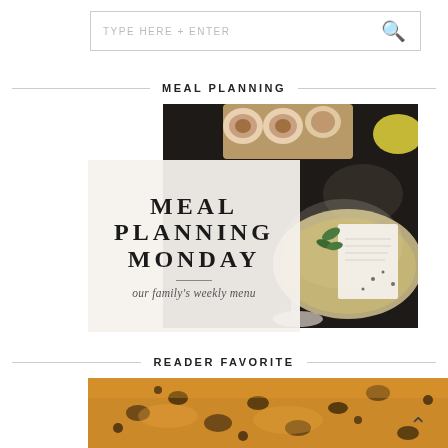TYPE HERE + ENTER [search bar]
MEAL PLANNING
[Figure (photo): Overhead photo of eggs on dark surface with dough/pastry crust and recipe card with herbs, overlaid with a semi-transparent card reading MEAL PLANNING MONDAY our family's weekly menu]
READER FAVORITE
[Figure (photo): Close-up food photo showing cheesy casserole dish with dark toppings, partially visible at bottom of page]